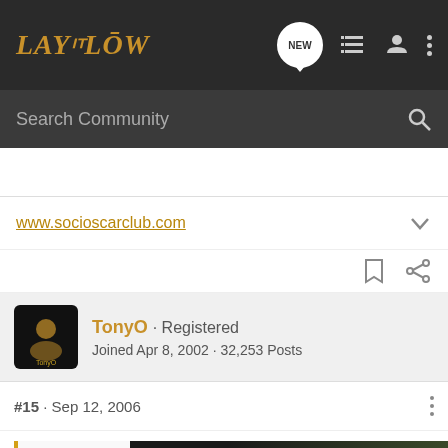LAY IT LOW - NEW - nav icons
Search Community
www.socioscarclub.com
TonyO · Registered
Joined Apr 8, 2002 · 32,253 Posts
#15 · Sep 12, 2006
Originally posted by... Sep 12, 2006, 11:09
PM~61...
Yours...
[Figure (advertisement): Chevrolet advertisement: THE NEW 2022 SILVERADO. Explore button. Image of Silverado truck. Chevrolet logo.]